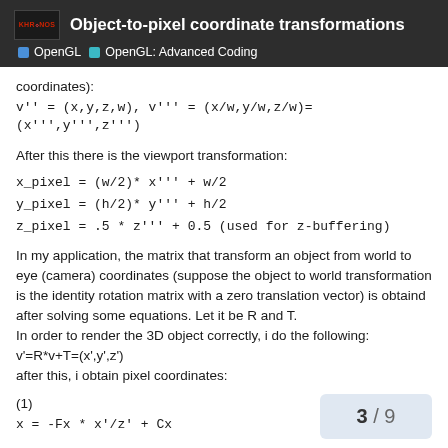Object-to-pixel coordinate transformations | OpenGL | OpenGL: Advanced Coding
coordinates):
After this there is the viewport transformation:
In my application, the matrix that transform an object from world to eye (camera) coordinates (suppose the object to world transformation is the identity rotation matrix with a zero translation vector) is obtaind after solving some equations. Let it be R and T.
In order to render the 3D object correctly, i do the following:
v'=R*v+T=(x',y',z')
after this, i obtain pixel coordinates:
(1)
3 / 9